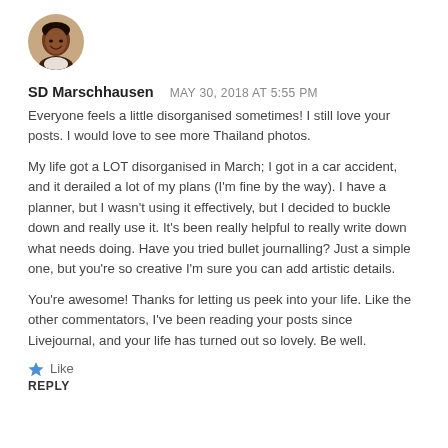[Figure (photo): Circular avatar photo of a woman with dark skin and short hair, smiling]
SD Marschhausen   MAY 30, 2018 AT 5:55 PM
Everyone feels a little disorganised sometimes! I still love your posts. I would love to see more Thailand photos.
My life got a LOT disorganised in March; I got in a car accident, and it derailed a lot of my plans (I'm fine by the way). I have a planner, but I wasn't using it effectively, but I decided to buckle down and really use it. It's been really helpful to really write down what needs doing. Have you tried bullet journalling? Just a simple one, but you're so creative I'm sure you can add artistic details.
You're awesome! Thanks for letting us peek into your life. Like the other commentators, I've been reading your posts since Livejournal, and your life has turned out so lovely. Be well.
★ Like
REPLY